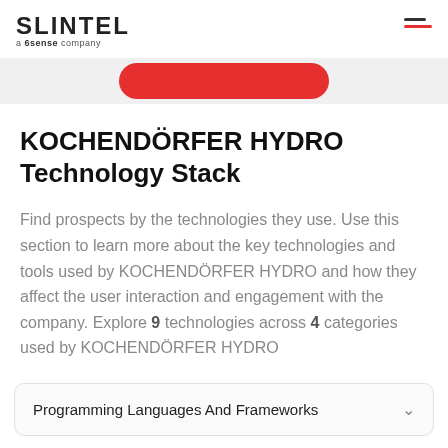SLINTEL a 6sense company
[Figure (other): Red rounded button partially visible at top center]
KOCHENDÖRFER HYDRO Technology Stack
Find prospects by the technologies they use. Use this section to learn more about the key technologies and tools used by KOCHENDÖRFER HYDRO and how they affect the user interaction and engagement with the company. Explore 9 technologies across 4 categories used by KOCHENDÖRFER HYDRO
Programming Languages And Frameworks